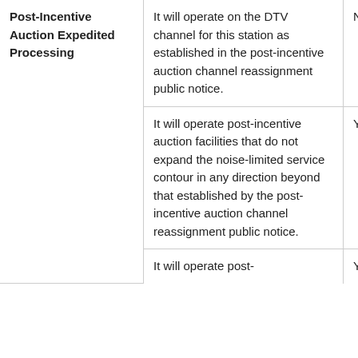| Post-Incentive Auction Expedited Processing | Condition | Eligible |
| --- | --- | --- |
| Post-Incentive Auction Expedited Processing | It will operate on the DTV channel for this station as established in the post-incentive auction channel reassignment public notice. | No |
|  | It will operate post-incentive auction facilities that do not expand the noise-limited service contour in any direction beyond that established by the post-incentive auction channel reassignment public notice. | Yes |
|  | It will operate post-incentive auction the... | Yes |